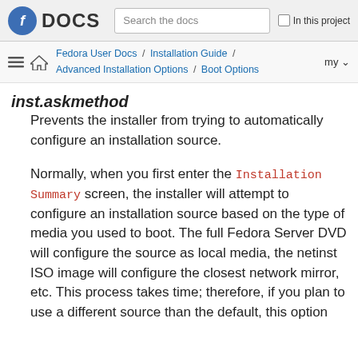Fedora DOCS | Search the docs | In this project
Fedora User Docs / Installation Guide / Advanced Installation Options / Boot Options
inst.askmethod
Prevents the installer from trying to automatically configure an installation source.
Normally, when you first enter the Installation Summary screen, the installer will attempt to configure an installation source based on the type of media you used to boot. The full Fedora Server DVD will configure the source as local media, the netinst ISO image will configure the closest network mirror, etc. This process takes time; therefore, if you plan to use a different source than the default, this option